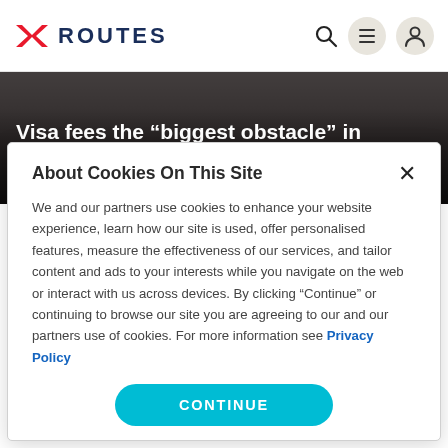ROUTES
[Figure (screenshot): Routes website header with logo (red arrow icon and ROUTES text), search icon, menu icon, and user profile icon on white navbar.]
Visa fees the “biggest obstacle” in growing African aviation
About Cookies On This Site
We and our partners use cookies to enhance your website experience, learn how our site is used, offer personalised features, measure the effectiveness of our services, and tailor content and ads to your interests while you navigate on the web or interact with us across devices. By clicking “Continue” or continuing to browse our site you are agreeing to our and our partners use of cookies. For more information see Privacy Policy
CONTINUE